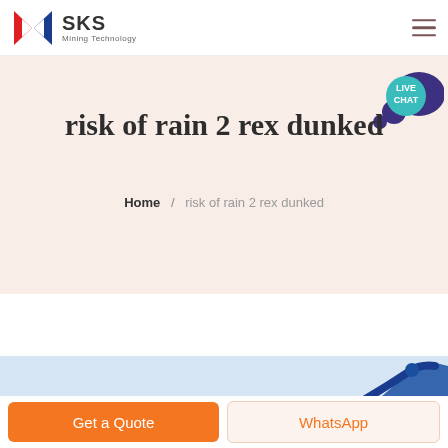SKS Mining Technology
risk of rain 2 rex dunked
Home / risk of rain 2 rex dunked
[Figure (screenshot): Partial product image on light blue background showing a blue mechanical/industrial part]
Get a Quote
WhatsApp